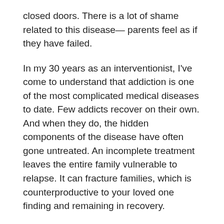closed doors. There is a lot of shame related to this disease— parents feel as if they have failed.
In my 30 years as an interventionist, I've come to understand that addiction is one of the most complicated medical diseases to date. Few addicts recover on their own. And when they do, the hidden components of the disease have often gone untreated. An incomplete treatment leaves the entire family vulnerable to relapse. It can fracture families, which is counterproductive to your loved one finding and remaining in recovery.
Addiction treatment is never as straightforward as, say, cutting out a tumor or setting a broken bone. This disease is confusing and crazy-making. In the beginning, addiction looks a lot like a behavior problem. The manipulative behavior and the stealing feels like such a personal assault when in fact, it's part of the disease